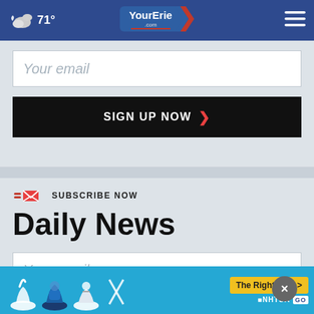71° — YourErie.com
Your email
SIGN UP NOW
SUBSCRIBE NOW
Daily News
Your email
SIGN UP NOW
[Figure (other): NHTSA child car seat safety advertisement banner with car seat icons and 'The Right Seat' button]